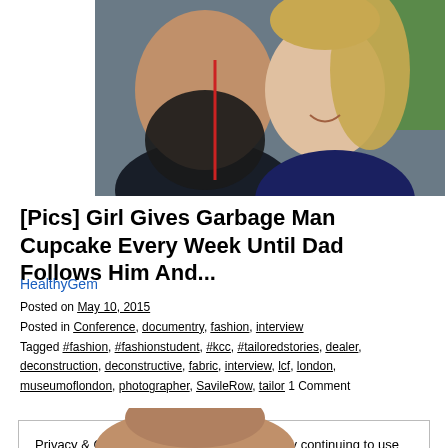[Figure (photo): Photo of a bearded man and a young girl smiling together outdoors]
[Pics] Girl Gives Garbage Man Cupcake Every Week Until Dad Follows Him And...
HealthyGem
Posted on May 10, 2015
Posted in Conference, documentry, fashion, interview
Tagged #fashion, #fashionstudent, #kcc, #tailoredstories, dealer, deconstruction, deconstructive, fabric, interview, lcf, london, museumoflondon, photographer, SavileRow, tailor 1 Comment
Privacy & Cookies: This site uses cookies. By continuing to use this website, you agree to their use.
To find out more, including how to control cookies, see here: Cookie Policy
[Figure (photo): Partial view of a person's head at the bottom of the page]